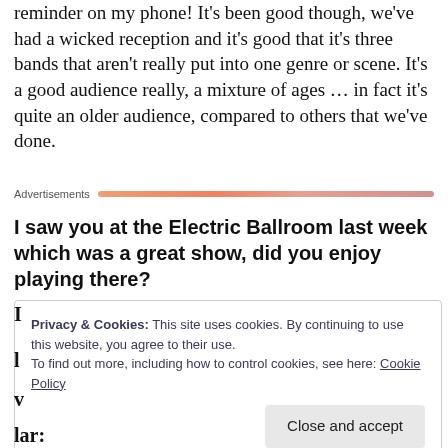reminder on my phone! It's been good though, we've had a wicked reception and it's good that it's three bands that aren't really put into one genre or scene. It's a good audience really, a mixture of ages … in fact it's quite an older audience, compared to others that we've done.
Advertisements
I saw you at the Electric Ballroom last week which was a great show, did you enjoy playing there?
Privacy & Cookies: This site uses cookies. By continuing to use this website, you agree to their use.
To find out more, including how to control cookies, see here: Cookie Policy
Close and accept